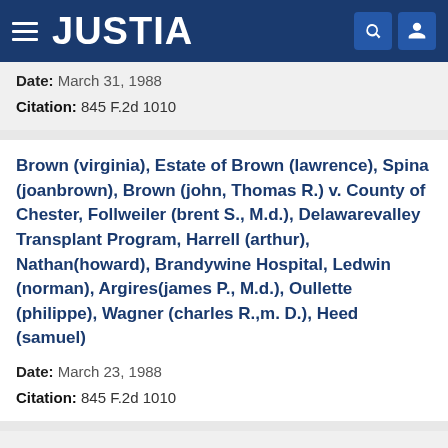JUSTIA
Date: March 31, 1988
Citation: 845 F.2d 1010
Brown (virginia), Estate of Brown (lawrence), Spina (joanbrown), Brown (john, Thomas R.) v. County of Chester, Follweiler (brent S., M.d.), Delawarevalley Transplant Program, Harrell (arthur), Nathan(howard), Brandywine Hospital, Ledwin (norman), Argires(james P., M.d.), Oullette (philippe), Wagner (charles R.,m. D.), Heed (samuel)
Date: March 23, 1988
Citation: 845 F.2d 1010
Carone (steven) v. Larry (frank J.), Walker (james), Conaboy (richard),longobardi (joseph)
Date: March 4, 1988